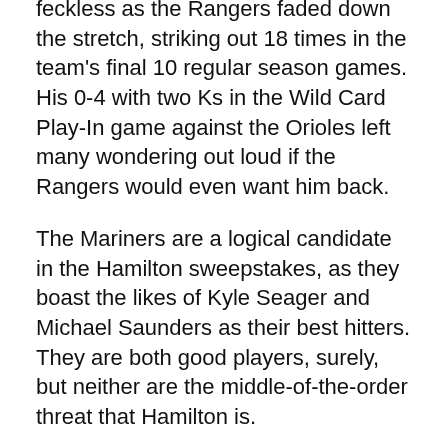He rebounded in August and September, but he looked feckless as the Rangers faded down the stretch, striking out 18 times in the team's final 10 regular season games. His 0-4 with two Ks in the Wild Card Play-In game against the Orioles left many wondering out loud if the Rangers would even want him back.
The Mariners are a logical candidate in the Hamilton sweepstakes, as they boast the likes of Kyle Seager and Michael Saunders as their best hitters. They are both good players, surely, but neither are the middle-of-the-order threat that Hamilton is.
"If the right bat's available, we're going to have to talk about it," Mariners GM Jack Zduriencik said. "We're going to have several discussions with agents."